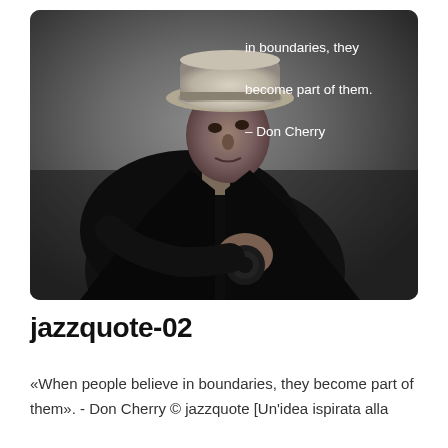[Figure (photo): Black and white photograph of a man wearing a white fedora hat and dark coat, holding what appears to be a trumpet or instrument, with white text overlay showing a quote: 'in boundaries, they become part of them. – Don Cherry']
jazzquote-02
«When people believe in boundaries, they become part of them». - Don Cherry © jazzquote [Un'idea ispirata alla